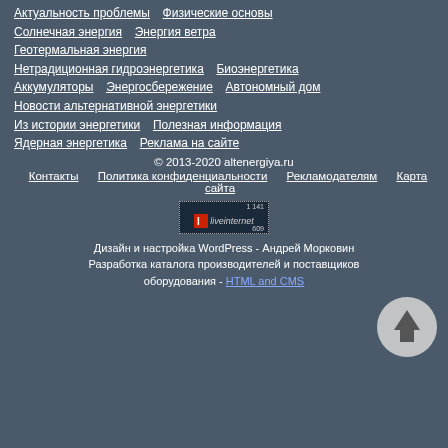Актуальность проблемы   Физические основы
Солнечная энергия   Энергия ветра
Геотермальная энергия
Нетрадиционная гидроэнергетика   Биоэнергетика
Аккумуляторы   Энергосбережение   Автономный дом
Новости альтернативной энергетики
Из истории энергетики   Полезная информация
Ядерная энергетика   Реклама на сайте
© 2013-2020 altenergiya.ru
Контакты   Политика конфиденциальности   Рекламодателям   Карта сайта
[Figure (other): LiveInternet counter badge showing stats 1141 and 609]
[Figure (other): Scroll to top circular button with upward arrow]
Дизайн и настройка WordPress - Андрей Морковин
Разработка каталога производителей и поставщиков оборудования - HTML and CMS